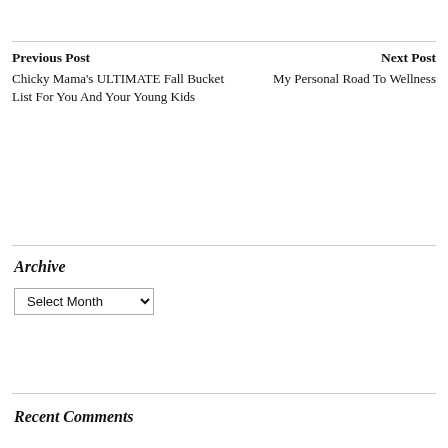Previous Post
Chicky Mama's ULTIMATE Fall Bucket List For You And Your Young Kids
Next Post
My Personal Road To Wellness
Archive
Select Month
Recent Comments